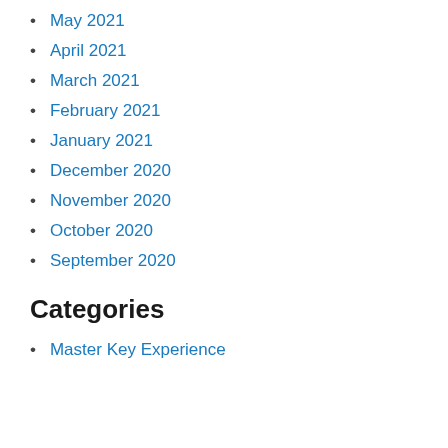May 2021
April 2021
March 2021
February 2021
January 2021
December 2020
November 2020
October 2020
September 2020
Categories
Master Key Experience